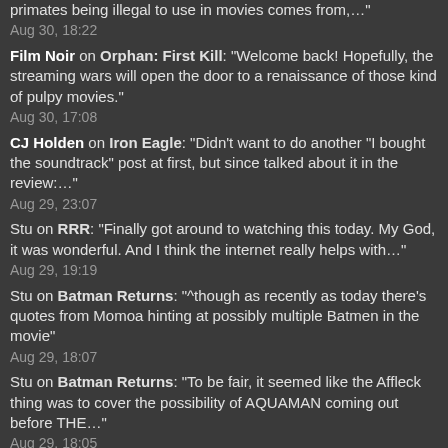primates being illegal to use in movies comes from,…"
Aug 30, 18:22
Film Noir on Orphan: First Kill: "Welcome back! Hopefully, the streaming wars will open the door to a renaissance of those kind of pulpy movies."
Aug 30, 17:08
CJ Holden on Iron Eagle: "Didn't want to do another "I bought the soundtrack" post at first, but since talked about it in the review:…"
Aug 29, 23:07
Stu on RRR: "Finally got around to watching this today. My God, it was wonderful. And I think the internet really helps with…"
Aug 29, 19:19
Stu on Batman Returns: "^though as recently as today there's quotes from Momoa hinting at possibly multiple Batmen in the movie"
Aug 29, 18:07
Stu on Batman Returns: "To be fair, it seemed like the Affleck thing was to cover the possibility of AQUAMAN coming out before THE…"
Aug 29, 18:05
Broddie on Batman Returns: "Fred it is true. Affleck is now the Batman in the Aquaman movie after the recent reshoots. That's another thing…"
Aug 29, 14:32
Broddie on Batman Returns: "I loved Keaton as Batman and had no desire to ever see him in the role again. It's interesting when…"
Aug 29, 14:26
Dtroyt on Nope: "I just finally got a chance to see this and I loved it. I think it may have replaced Get…"
Aug 29, 11:36
Franchise Fred on A League of Their Own: "That's awesome, Chris. Also all girl Mighty Ducks reboot when? (The d+ show actually had a lot of women. Not…"